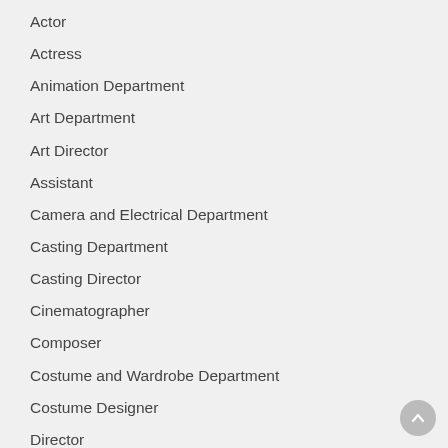Actor
Actress
Animation Department
Art Department
Art Director
Assistant
Camera and Electrical Department
Casting Department
Casting Director
Cinematographer
Composer
Costume and Wardrobe Department
Costume Designer
Director